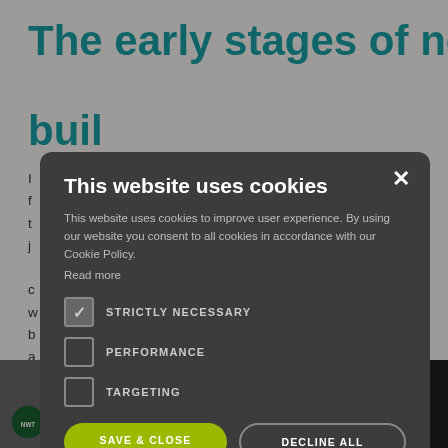The early stages of nest building
me exceptional maternal nest in t independent j me range. With a ck, the nest box w ocess of nest b amera outside a le the box. Here i
[Figure (screenshot): Cookie consent modal dialog over a webpage about nest building. The modal has dark background, title 'This website uses cookies', body text, checkboxes for STRICTLY NECESSARY (checked), PERFORMANCE (unchecked), TARGETING (unchecked), SAVE & CLOSE and DECLINE ALL buttons, and SHOW DETAILS option.]
[Figure (photo): Bottom strip with National Woodland Trust logo on left dark photo strip, and People's Trust for Endangered Species logo on right dark strip with text 'ome']